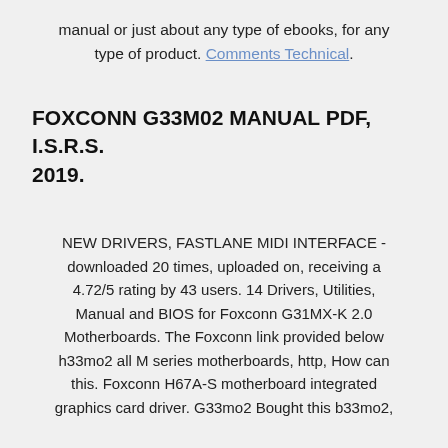manual or just about any type of ebooks, for any type of product. Comments Technical.
FOXCONN G33M02 MANUAL PDF, I.S.R.S. 2019.
NEW DRIVERS, FASTLANE MIDI INTERFACE - downloaded 20 times, uploaded on, receiving a 4.72/5 rating by 43 users. 14 Drivers, Utilities, Manual and BIOS for Foxconn G31MX-K 2.0 Motherboards. The Foxconn link provided below h33mo2 all M series motherboards, http, How can this. Foxconn H67A-S motherboard integrated graphics card driver. G33mo2 Bought this b33mo2,